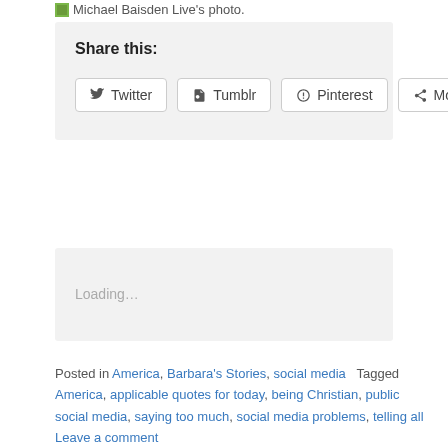[Figure (photo): Placeholder image icon for Michael Baisden Live's photo]
Michael Baisden Live's photo.
Share this:
Twitter  Tumblr  Pinterest  More
Loading…
Posted in America, Barbara's Stories, social media   Tagged America, applicable quotes for today, being Christian, public social media, saying too much, social media problems, telling all   Leave a comment